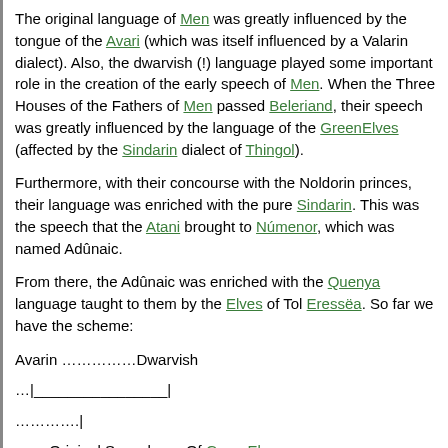The original language of Men was greatly influenced by the tongue of the Avari (which was itself influenced by a Valarin dialect). Also, the dwarvish (!) language played some important role in the creation of the early speech of Men. When the Three Houses of the Fathers of Men passed Beleriand, their speech was greatly influenced by the language of the GreenElves (affected by the Sindarin dialect of Thingol).
Furthermore, with their concourse with the Noldorin princes, their language was enriched with the pure Sindarin. This was the speech that the Atani brought to Númenor, which was named Adûnaic.
From there, the Adûnaic was enriched with the Quenya language taught to them by the Elves of Tol Eressëa. So far we have the scheme:
Avarin ……………Dwarvish
…|________________|
………….|
…….Original Speech……Of GreenElves……. Sindarin
………….|________________|________________|